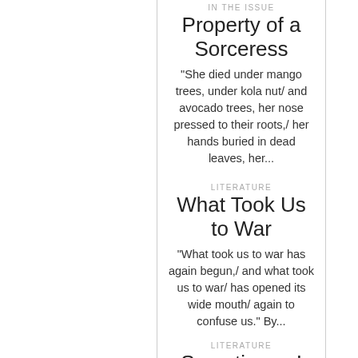IN THE ISSUE
Property of a Sorceress
"She died under mango trees, under kola nut/ and avocado trees, her nose pressed to their roots,/ her hands buried in dead leaves, her...
LITERATURE
What Took Us to War
"What took us to war has again begun,/ and what took us to war/ has opened its wide mouth/ again to confuse us." By...
LITERATURE
Sometimes, I Close My Eyes
"sometimes, this is the way of the world,/ the simple, ordinary world, where things are/ sometimes too ordinary to matter. Sometimes,/ I